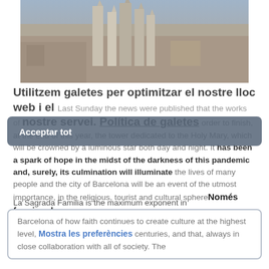[Figure (photo): Aerial photograph of the Sagrada Familia basilica and surrounding Barcelona cityscape]
Last Sunday the news were published that the works of the Holy Family were resumed in order to finish, at the end of this year, the tower dedicated to the Holy Mary, which will be crowned by a luminous star both day and night. It has been a spark of hope in the midst of the darkness of this pandemic and, surely, its culmination will illuminate the lives of many people and the city of Barcelona will be an event of the utmost importance, in the religious, tourist and cultural sphere
Utilitzem galetes per optimitzar el nostre lloc web i el nostre servei. Política de galetes
Acceptar tot
Només funcional
La Sagrada Familia is the maximum exponent in Barcelona of how faith continues to create culture at the highest level, as it has done for many centuries, and that, always in close collaboration with all of society. The testimonies we have of this in the city and throughout Catalonia are a continuous wonder, with the Romanesque
Mostra les preferències